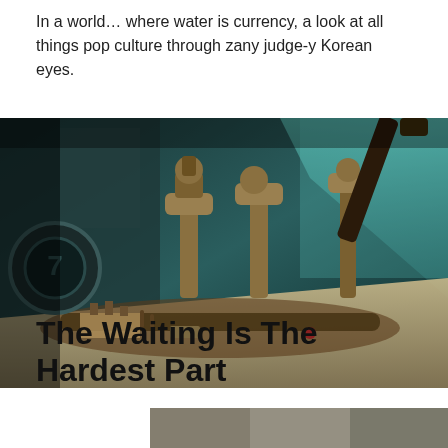In a world… where water is currency, a look at all things pop culture through zany judge-y Korean eyes.
[Figure (illustration): Animated sci-fi illustration of a futuristic industrial factory interior with robotic arms, conveyor belts, machinery and tools on workbenches, lit with teal/cyan lighting and dark shadows.]
The Waiting Is The Hardest Part
[Figure (photo): Partial view of a photo at the bottom of the page, cropped — appears to show people or a scene in muted colors.]